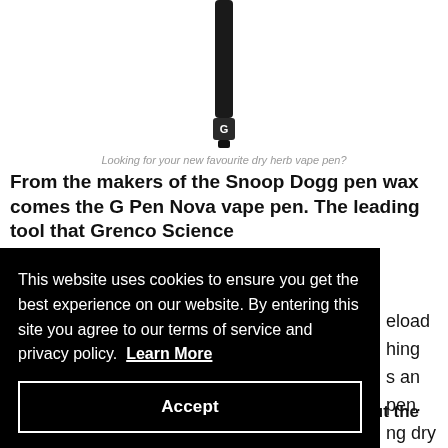[Figure (photo): A black vape pen (G Pen Nova) displayed vertically, centered, with a white 'G' logo near the bottom tip.]
Looking for your new favourite dry herb vape pen?
From the makers of the Snoop Dogg pen wax comes the G Pen Nova vape pen. The leading tool that Grenco Science [partially obscured] reload [partially obscured] ning [partially obscured] s an [partially obscured] pen. [partially obscured] ng dry [partially obscured] ntrates [partially obscured] cro G
This website uses cookies to ensure you get the best experience on our website. By entering this site you agree to our terms of service and privacy policy. Learn More
Accept
en peeks your interest, you should also check out the Atmos